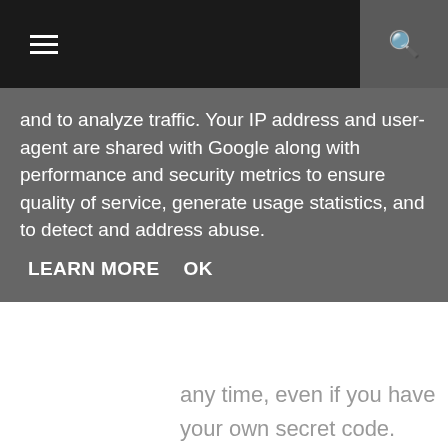≡  🔍
and to analyze traffic. Your IP address and user-agent are shared with Google along with performance and security metrics to ensure quality of service, generate usage statistics, and to detect and address abuse.
LEARN MORE   OK
any time, even if you have your own secret code. You can also accumulate points. The game of the casino online. There are a variety of games and methods and different styles of play out. And there are recipes that will make you more victorious. But how? Your ability to play will determine whether you